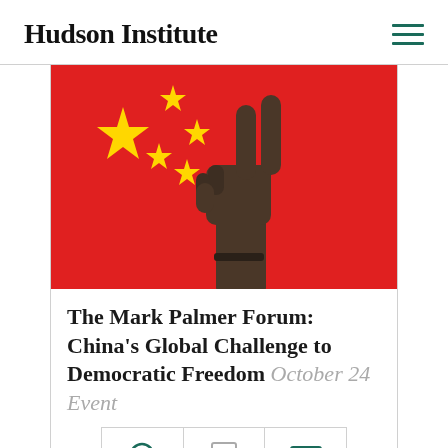Hudson Institute
[Figure (photo): A hand making a peace/victory sign in front of a red Chinese flag with yellow stars]
The Mark Palmer Forum: China's Global Challenge to Democratic Freedom October 24 Event
[Figure (infographic): Bottom navigation bar with three icon cells: a headphones/audio icon, a document/text icon, and a film/video icon]